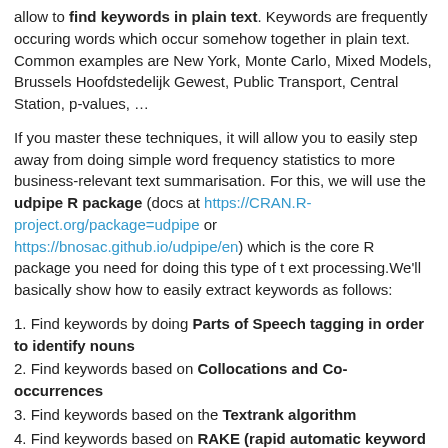allow to find keywords in plain text. Keywords are frequently occuring words which occur somehow together in plain text. Common examples are New York, Monte Carlo, Mixed Models, Brussels Hoofdstedelijk Gewest, Public Transport, Central Station, p-values, …
If you master these techniques, it will allow you to easily step away from doing simple word frequency statistics to more business-relevant text summarisation. For this, we will use the udpipe R package (docs at https://CRAN.R-project.org/package=udpipe or https://bnosac.github.io/udpipe/en) which is the core R package you need for doing this type of t ext processing.We'll basically show how to easily extract keywords as follows:
1. Find keywords by doing Parts of Speech tagging in order to identify nouns
2. Find keywords based on Collocations and Co-occurrences
3. Find keywords based on the Textrank algorithm
4. Find keywords based on RAKE (rapid automatic keyword extraction)
5. Find keywords by looking for Phrases (noun phrases / verb phrases)
6. Find keywords based on results of dependency parsing (getting the subject of the text)